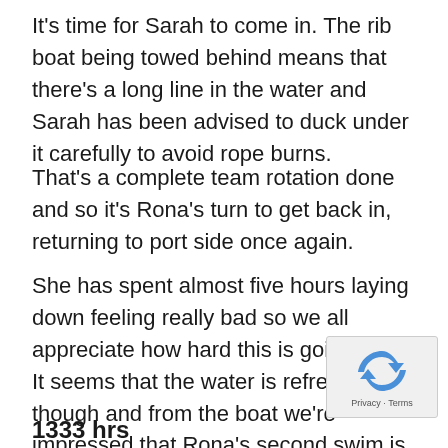It’s time for Sarah to come in.  The rib boat being towed behind means that there’s a long line in the water and Sarah has been advised to duck under it carefully to avoid rope burns.
That’s a complete team rotation done and so it’s Rona’s turn to get back in, returning to port side once again.
She has spent almost five hours laying down feeling really bad so we all appreciate how hard this is going to be.  It seems that the water is refreshing though and from the boat we’re impressed that Rona’s second swim is as strong as the first, with lots of smiles reassuring us that she’s doing okay.
[Figure (logo): reCAPTCHA logo with Privacy - Terms text]
1333 hrs